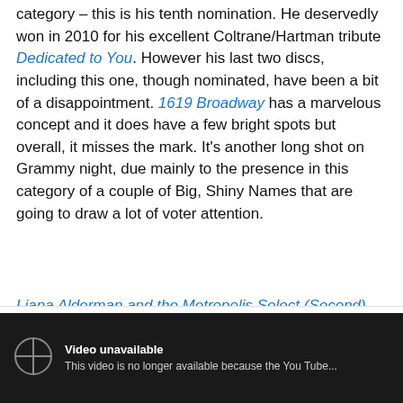category – this is his tenth nomination. He deservedly won in 2010 for his excellent Coltrane/Hartman tribute Dedicated to You. However his last two discs, including this one, though nominated, have been a bit of a disappointment. 1619 Broadway has a marvelous concept and it does have a few bright spots but overall, it misses the mark. It's another long shot on Grammy night, due mainly to the presence in this category of a couple of Big, Shiny Names that are going to draw a lot of voter attention.
Privacy & Cookies: This site uses cookies. By continuing to use this website, you agree to their use. To find out more, including how to control cookies, see here: Cookie Policy
Close and accept
Video unavailable
This video is no longer available because the YouTube...